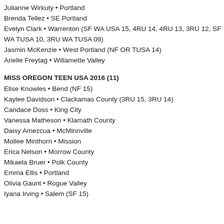Julianne Wirkuty • Portland
Brenda Tellez • SE Portland
Evelyn Clark • Warrenton (SF WA USA 15, 4RU 14, 4RU 13, 3RU 12, SF WA TUSA 10, 3RU WA TUSA 09)
Jasmin McKenzie • West Portland (NF OR TUSA 14)
Arielle Freytag • Willamette Valley
MISS OREGON TEEN USA 2016 (11)
Elise Knowles • Bend (NF 15)
Kaylee Davidson • Clackamas County (3RU 15, 3RU 14)
Candace Doss • King City
Vanessa Matheson • Klamath County
Daisy Amezcua • McMinnville
Mollee Minthorn • Mission
Erica Nelson • Morrow County
Mikaela Bruer • Polk County
Emma Ellis • Portland
Olivia Gaunt • Rogue Valley
Iyana Irving • Salem (SF 15)